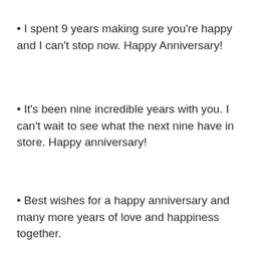I spent 9 years making sure you're happy and I can't stop now. Happy Anniversary!
It's been nine incredible years with you. I can't wait to see what the next nine have in store. Happy anniversary!
Best wishes for a happy anniversary and many more years of love and happiness together.